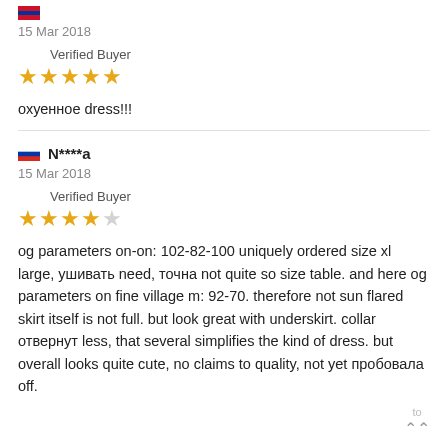[reviewer name clipped]
15 Mar 2018
Verified Buyer
★★★★★
охуенное dress!!!
N****a
15 Mar 2018
Verified Buyer
★★★★☆
og parameters on-on: 102-82-100 uniquely ordered size xl large, ушивать need, точна not quite so size table. and here og parameters on fine village m: 92-70. therefore not sun flared skirt itself is not full. but look great with underskirt. collar отвернут less, that several simplifies the kind of dress. but overall looks quite cute, no claims to quality, not yet пробовала off.